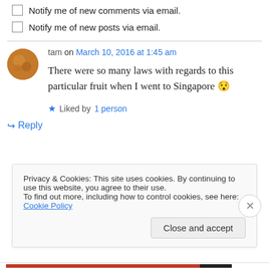Notify me of new comments via email.
Notify me of new posts via email.
tam on March 10, 2016 at 1:45 am
There were so many laws with regards to this particular fruit when I went to Singapore 😯
Liked by 1 person
↳ Reply
Privacy & Cookies: This site uses cookies. By continuing to use this website, you agree to their use. To find out more, including how to control cookies, see here: Cookie Policy
Close and accept